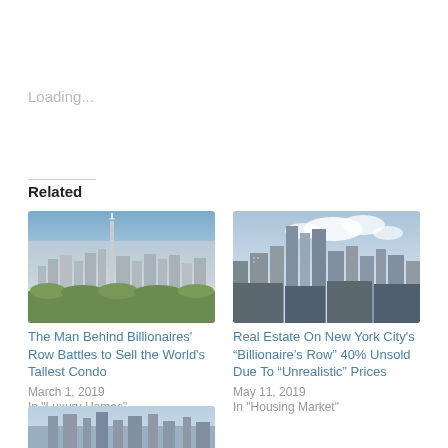Loading...
Related
[Figure (photo): Aerial view of New York City skyline with Central Park in foreground and skyscrapers including a tall slender tower]
The Man Behind Billionaires' Row Battles to Sell the World's Tallest Condo
March 1, 2019
In "Luxury Homes"
[Figure (photo): New York City skyline view showing midtown skyscrapers under partly cloudy sky]
Real Estate On New York City's “Billionaire’s Row” 40% Unsold Due To “Unrealistic” Prices
May 11, 2019
In "Housing Market"
[Figure (photo): Partial view of a third related article image, cropped at the bottom of the page]